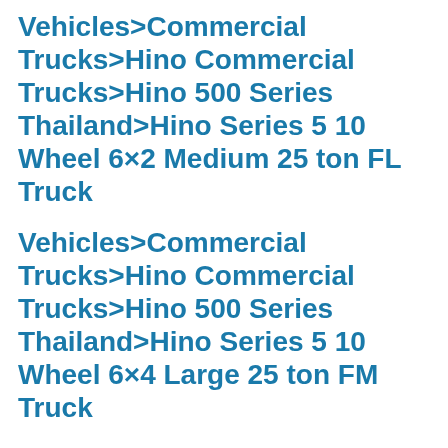Vehicles>Commercial Trucks>Hino Commercial Trucks>Hino 500 Series Thailand>Hino Series 5 10 Wheel 6×2 Medium 25 ton FL Truck
Vehicles>Commercial Trucks>Hino Commercial Trucks>Hino 500 Series Thailand>Hino Series 5 10 Wheel 6×4 Large 25 ton FM Truck
Vehicles>Commercial Trucks>Hino Commercial Trucks>Hino 500 Series Thailand>Hino Series 5 10 Wheel 6×4 Large 45 50 ton FM10 Tractor